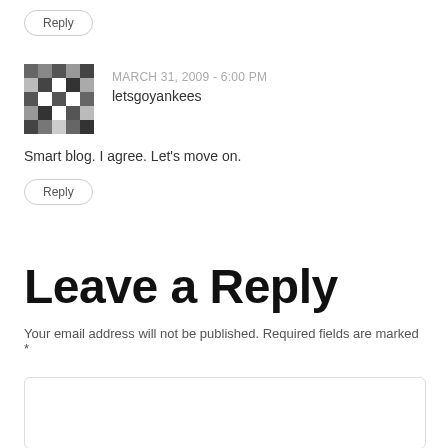Reply
[Figure (other): User avatar pixelated/identicon style image for user letsgoyankees]
MARCH 31, 2009 - 6:00 PM
letsgoyankees
Smart blog. I agree. Let's move on.
Reply
Leave a Reply
Your email address will not be published. Required fields are marked *